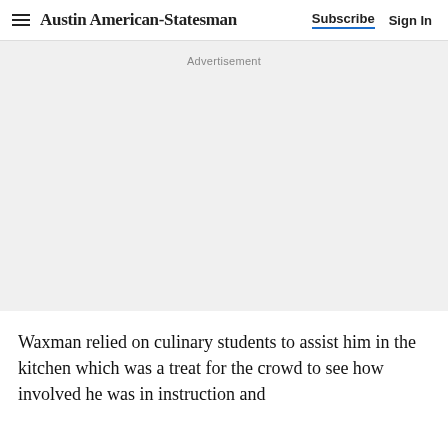Austin American-Statesman | Subscribe | Sign In
Advertisement
Waxman relied on culinary students to assist him in the kitchen which was a treat for the crowd to see how involved he was in instruction and